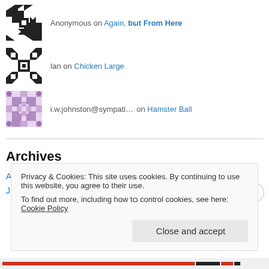Anonymous on Again, but From Here
Ian on Chicken Large
i.w.johnston@sympati… on Hamster Ball
Archives
August 2015
June 2015
Privacy & Cookies: This site uses cookies. By continuing to use this website, you agree to their use.
To find out more, including how to control cookies, see here: Cookie Policy
Close and accept